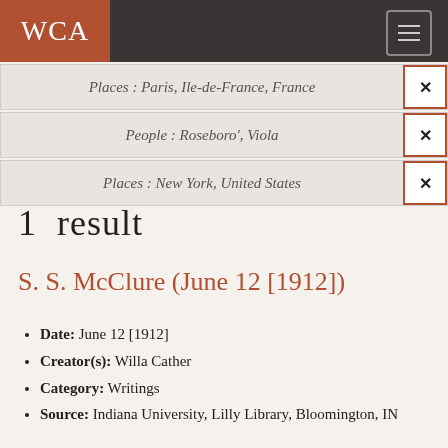WCA
Places : Paris, Ile-de-France, France ×
People : Roseboro', Viola ×
Places : New York, United States ×
1 result
S. S. McClure (June 12 [1912])
Date: June 12 [1912]
Creator(s): Willa Cather
Category: Writings
Source: Indiana University, Lilly Library, Bloomington, IN